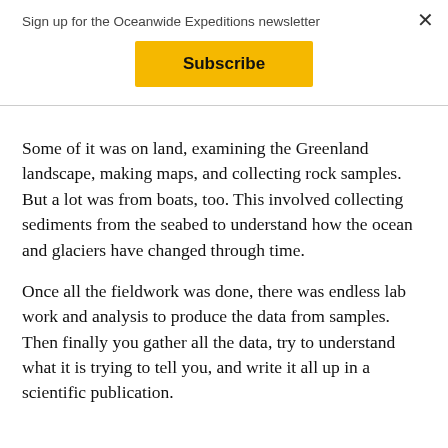Sign up for the Oceanwide Expeditions newsletter
Subscribe
Some of it was on land, examining the Greenland landscape, making maps, and collecting rock samples. But a lot was from boats, too. This involved collecting sediments from the seabed to understand how the ocean and glaciers have changed through time.
Once all the fieldwork was done, there was endless lab work and analysis to produce the data from samples. Then finally you gather all the data, try to understand what it is trying to tell you, and write it all up in a scientific publication.